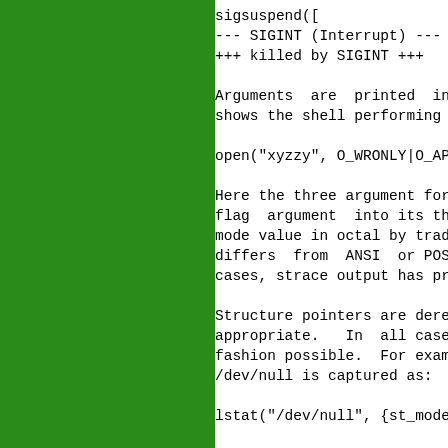[Figure (other): Green vertical bar on the left side of the page]
sigsuspend([
--- SIGINT (Interrupt) ---
+++ killed by SIGINT +++

Arguments  are  printed  in symbolic f
shows the shell performing >>xyzzy out

open("xyzzy", O_WRONLY|O_APPEND|O_CREA

Here the three argument form of open i
flag  argument  into its three bitwise
mode value in octal by tradition.  Whe
differs  from  ANSI  or POSIX, the lat
cases, strace output has proven to be

Structure pointers are dereferenced an
appropriate.   In  all cases arguments
fashion possible.  For example, the es
/dev/null is captured as:

lstat("/dev/null", {st_mode=S_IFCHR|06

Notice how the struct stat argument is
ber is displayed symbolically.  In par
member  is  carefully decoded into a b
values.  Also notice in this example t
is  an  input  to the system call and
Since output arguments are not modifie
ments  may  not always be dereferenced